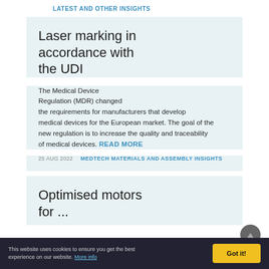LATEST AND OTHER INSIGHTS
Laser marking in accordance with the UDI
The Medical Device Regulation (MDR) changed the requirements for manufacturers that develop medical devices for the European market. The goal of the new regulation is to increase the quality and traceability of medical devices. READ MORE
25 AUG 2022   MEDTECH MATERIALS AND ASSEMBLY INSIGHTS
Optimised motors for...
This website uses cookies to ensure you get the best experience on our website. More info